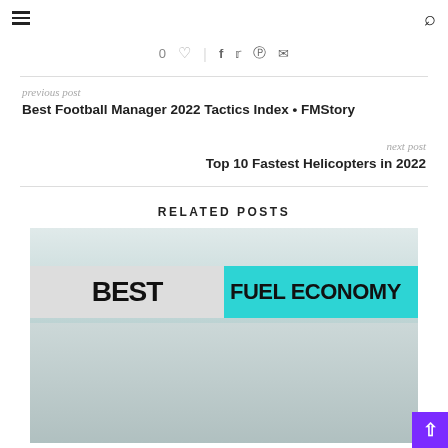☰ [search icon]
0 ♡ | f t pinterest mail
previous post
Best Football Manager 2022 Tactics Index • FMStory
next post
Top 10 Fastest Helicopters in 2022
RELATED POSTS
[Figure (photo): Thumbnail image for a related post about best fuel economy, showing bold text 'BEST FUEL ECONOMY' on a cyan background with a red car and a person visible]